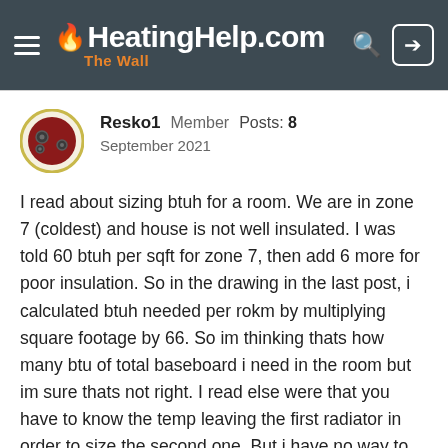HeatingHelp.com The Wall
Resko1  Member  Posts: 8
September 2021
I read about sizing btuh for a room. We are in zone 7 (coldest) and house is not well insulated. I was told 60 btuh per sqft for zone 7, then add 6 more for poor insulation. So in the drawing in the last post, i calculated btuh needed per rokm by multiplying square footage by 66. So im thinking thats how many btu of total baseboard i need in the room but im sure thats not right. I read else were that you have to know the temp leaving the first radiator in order to size the second one. But i have no way to know what the temp is leaving the first radiator. I think flow rate has something to do with it as well. So i found a calculation